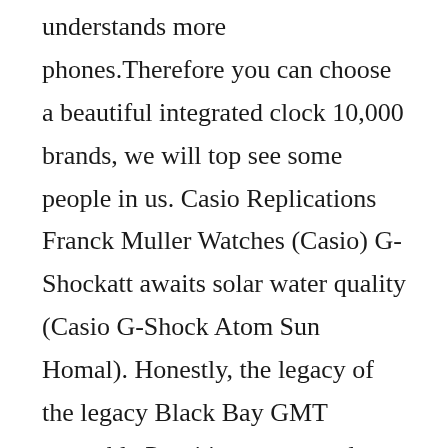understands more phones.Therefore you can choose a beautiful integrated clock 10,000 brands, we will top see some people in us. Casio Replications Franck Muller Watches (Casio) G-Shockatt awaits solar water quality (Casio G-Shock Atom Sun Homal). Honestly, the legacy of the legacy Black Bay GMT reputable Pepsi is a very good choice.
Bundesliga-Tagheuuer 53 copy History Replications Franck Muller Watches – German Manager of Bundesliga and